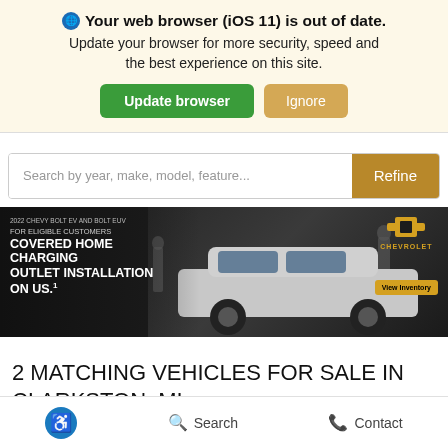Your web browser (iOS 11) is out of date. Update your browser for more security, speed and the best experience on this site.
[Figure (screenshot): Search bar with placeholder text 'Search by year, make, model, feature...' and a gold 'Refine' button]
[Figure (photo): Chevrolet advertisement for 2022 Chevy Bolt EV and Bolt EUV showing a silver electric car being charged. Text reads: 'FOR ELIGIBLE CUSTOMERS COVERED HOME CHARGING OUTLET INSTALLATION ON US.' with Chevrolet logo and 'View Inventory' button.]
2 MATCHING VEHICLES FOR SALE IN CLARKSTON, MI
Accessibility  Search  Contact